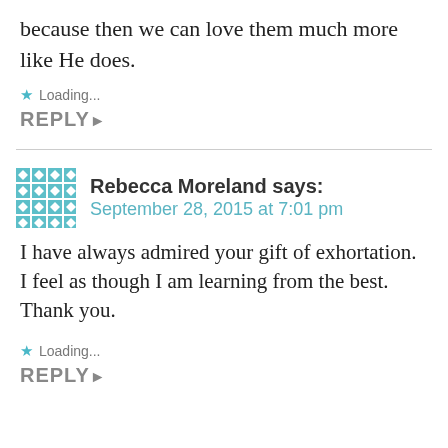because then we can love them much more like He does.
Loading...
REPLY
Rebecca Moreland says: September 28, 2015 at 7:01 pm
I have always admired your gift of exhortation. I feel as though I am learning from the best. Thank you.
Loading...
REPLY